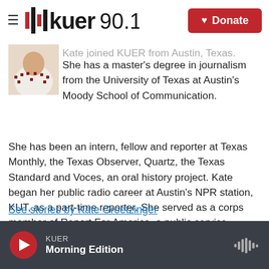KUER 90.1 — Donate
[Figure (photo): Small portrait photo of Kate Groetzinger wearing a patterned sweater]
Kate joined KUER from Austin, Texas. She has a master's degree in journalism from the University of Texas at Austin's Moody School of Communication. She has been an intern, fellow and reporter at Texas Monthly, the Texas Observer, Quartz, the Texas Standard and Voces, an oral history project. Kate began her public radio career at Austin's NPR station, KUT, as a part-time reporter. She served as a corps member of Report For America, a public service program that partners with local newsrooms to bring reporters to undercovered areas across the country.
See stories by Kate Groetzinger
KUER Morning Edition